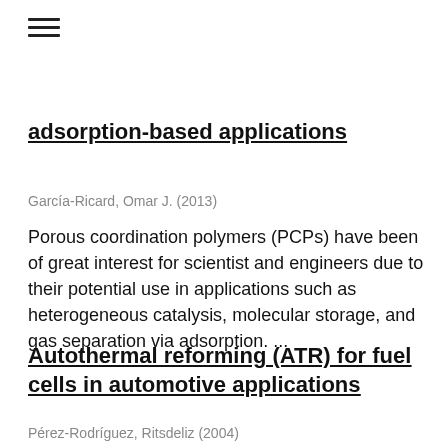adsorption-based applications
García-Ricard, Omar J. (2013)
Porous coordination polymers (PCPs) have been of great interest for scientist and engineers due to their potential use in applications such as heterogeneous catalysis, molecular storage, and gas separation via adsorption. ...
Autothermal reforming (ATR) for fuel cells in automotive applications
Pérez-Rodríguez, Ritsdeliz (2004)